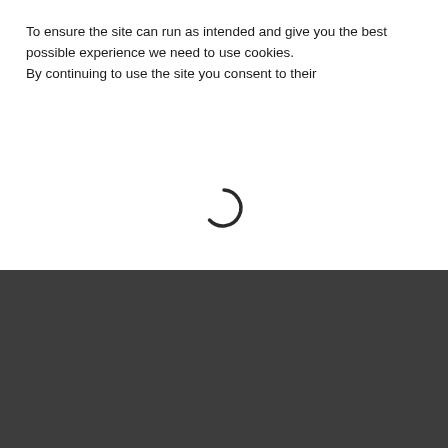To ensure the site can run as intended and give you the best possible experience we need to use cookies. By continuing to use the site you consent to their...
[Figure (other): Circular loading spinner icon, dark grey, centered on white background]
JOIN OUR NEWSLETTER CLUB
YOUR EMAIL ADDRESS
JOIN US
I have read the privacy_policy